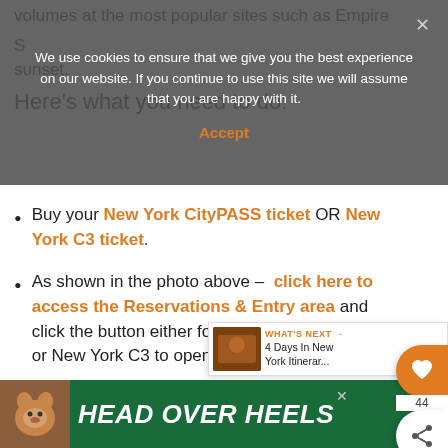volumes at the most popular sites such as Empire State...
sunset.
Here's what you need to do:
We use cookies to ensure that we give you the best experience on our website. If you continue to use this site we will assume that you are happy with it.
Buy your New York CityPASS ticket OR New York C3 ticket.
As shown in the photo above – click here to access the Reservations & Entry area and click the button either for New York CityPASS or New York C3 to open up your account.
Look for each attraction listed separately.
[Figure (screenshot): Advertisement banner showing a dog with text HEAD OVER HEELS on green background]